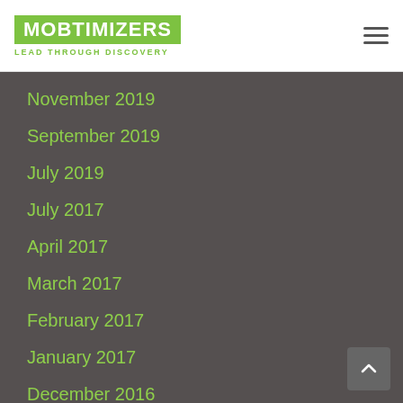MOBTIMIZERS LEAD THROUGH DISCOVERY
November 2019
September 2019
July 2019
July 2017
April 2017
March 2017
February 2017
January 2017
December 2016
November 2016
September 2016